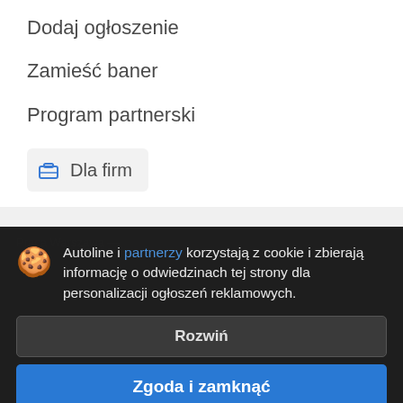Dodaj ogłoszenie
Zamieść baner
Program partnerski
Dla firm
Autoline i partnerzy korzystają z cookie i zbierają informację o odwiedzinach tej strony dla personalizacji ogłoszeń reklamowych.
Rozwiń
Zgoda i zamknąć